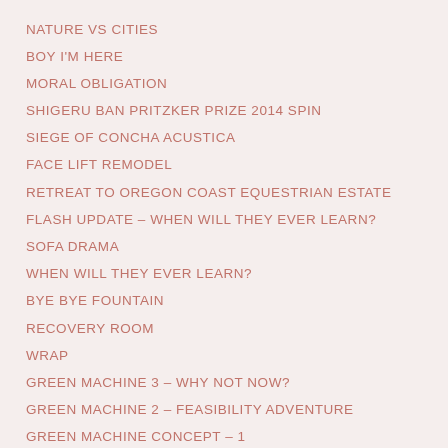NATURE VS CITIES
BOY I'M HERE
MORAL OBLIGATION
SHIGERU BAN PRITZKER PRIZE 2014 SPIN
SIEGE OF CONCHA ACUSTICA
FACE LIFT REMODEL
RETREAT TO OREGON COAST EQUESTRIAN ESTATE
FLASH UPDATE – WHEN WILL THEY EVER LEARN?
SOFA DRAMA
WHEN WILL THEY EVER LEARN?
BYE BYE FOUNTAIN
RECOVERY ROOM
WRAP
GREEN MACHINE 3 – WHY NOT NOW?
GREEN MACHINE 2 – FEASIBILITY ADVENTURE
GREEN MACHINE CONCEPT – 1